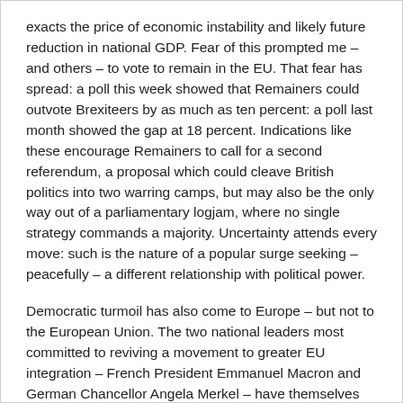exacts the price of economic instability and likely future reduction in national GDP. Fear of this prompted me – and others – to vote to remain in the EU. That fear has spread: a poll this week showed that Remainers could outvote Brexiteers by as much as ten percent: a poll last month showed the gap at 18 percent. Indications like these encourage Remainers to call for a second referendum, a proposal which could cleave British politics into two warring camps, but may also be the only way out of a parliamentary logjam, where no single strategy commands a majority. Uncertainty attends every move: such is the nature of a popular surge seeking – peacefully – a different relationship with political power.
Democratic turmoil has also come to Europe – but not to the European Union. The two national leaders most committed to reviving a movement to greater EU integration – French President Emmanuel Macron and German Chancellor Angela Merkel – have themselves been drawn into democratic maelstroms, which have meant they are both much weakened at home.